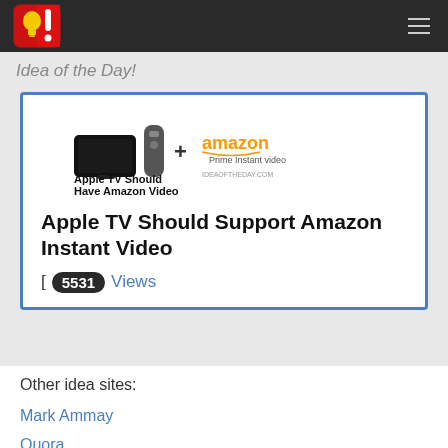Idea of the Day!
[Figure (screenshot): Apple TV + Amazon Prime Instant Video image with bold headline 'Apple TV Should Have Amazon Video' and site watermark IDEAOFTHEDAY.COM]
Apple TV Should Support Amazon Instant Video
[ 5531 Views
Other idea sites:
Mark Ammay
Quora
WhyNot?
IdeaScale.Com